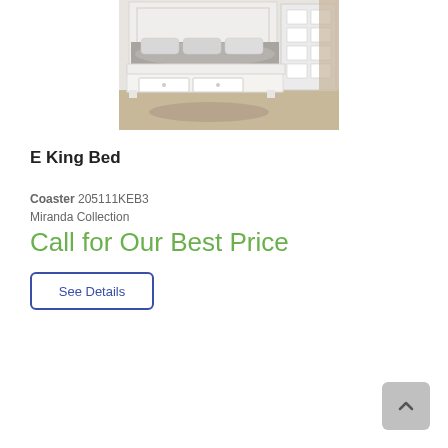[Figure (photo): A white storage bed (E King Bed) with drawers at the footboard, grey bedding and pillows, against a white paneled headboard backdrop with a dresser visible to the right.]
E King Bed
Coaster 205111KEB3
Miranda Collection
Call for Our Best Price
See Details